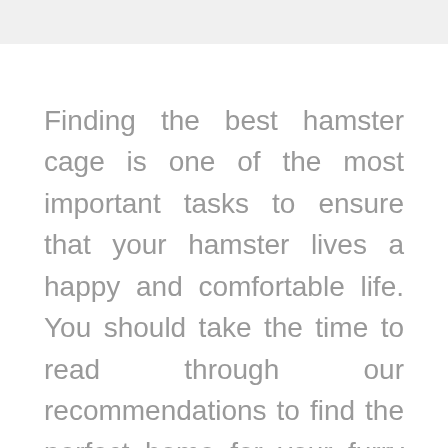Finding the best hamster cage is one of the most important tasks to ensure that your hamster lives a happy and comfortable life. You should take the time to read through our recommendations to find the perfect home for your furry friend; I always say that you wouldn't buy the first house/flat